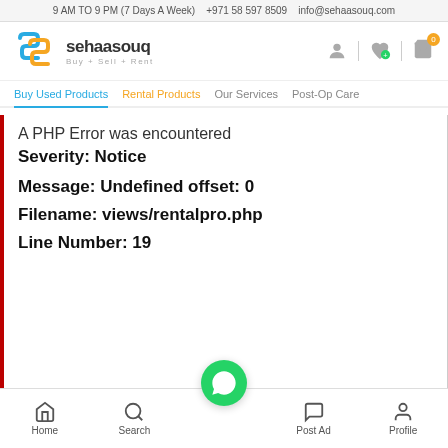9 AM TO 9 PM (7 Days A Week)   +971 58 597 8509   info@sehaasouq.com
[Figure (logo): Sehaasouq logo with blue and yellow S shapes, text 'sehaasouq Buy + Sell + Rent']
A PHP Error was encountered
Severity: Notice

Message: Undefined offset: 0

Filename: views/rentalpro.php

Line Number: 19
Home  Search  Post Ad  Profile